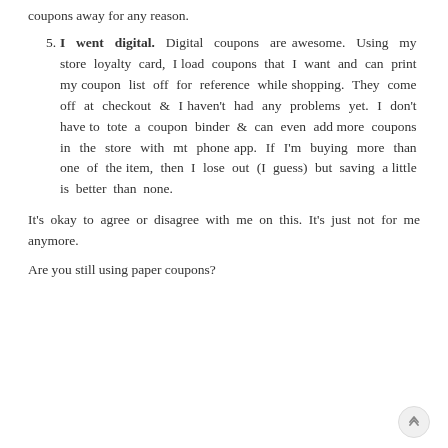coupons away for any reason.
5. I went digital. Digital coupons are awesome. Using my store loyalty card, I load coupons that I want and can print my coupon list off for reference while shopping. They come off at checkout & I haven't had any problems yet. I don't have to tote a coupon binder & can even add more coupons in the store with mt phone app. If I'm buying more than one of the item, then I lose out (I guess) but saving a little is better than none.
It's okay to agree or disagree with me on this. It's just not for me anymore.
Are you still using paper coupons?